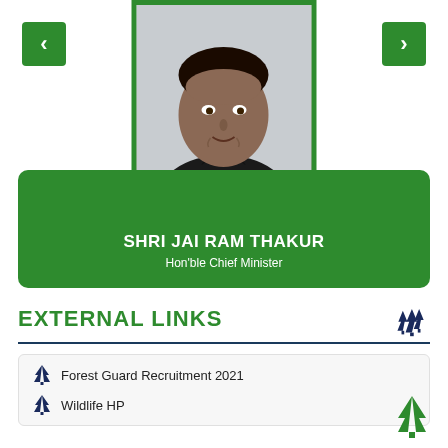[Figure (photo): Portrait photo of Shri Jai Ram Thakur in dark formal attire, displayed in a green-bordered frame at the top center of the page]
SHRI JAI RAM THAKUR
Hon'ble Chief Minister
External Links
Forest Guard Recruitment 2021
Wildlife HP